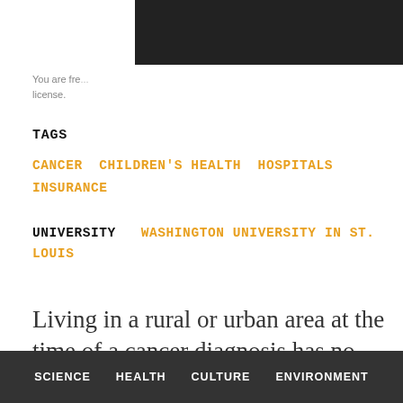[Figure (other): Dark/black header bar covering top-right portion of page]
You are fre... license.
TAGS
CANCER  CHILDREN'S HEALTH  HOSPITALS  INSURANCE
UNIVERSITY   WASHINGTON UNIVERSITY IN ST. LOUIS
Living in a rural or urban area at the time of a cancer diagnosis has no impact on a child's chance of survival, a new study
SCIENCE   HEALTH   CULTURE   ENVIRONMENT